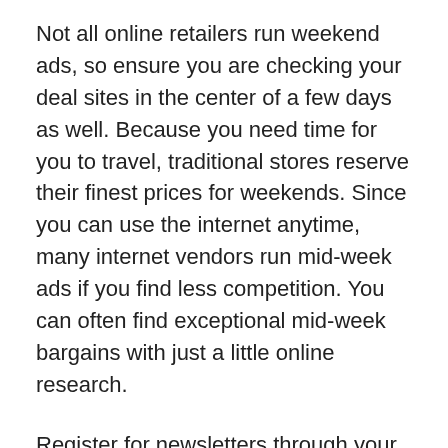Not all online retailers run weekend ads, so ensure you are checking your deal sites in the center of a few days as well. Because you need time for you to travel, traditional stores reserve their finest prices for weekends. Since you can use the internet anytime, many internet vendors run mid-week ads if you find less competition. You can often find exceptional mid-week bargains with just a little online research.
Register for newsletters through your favorite stores to obtain the best possible coupons. Many stores provide you with the greatest deals to folks willing to sign up for newsletters during those times. Afterwards, they are going to carry on and send great deals through their newsletters.
Consider subscribing to Amazon Prime if you are a